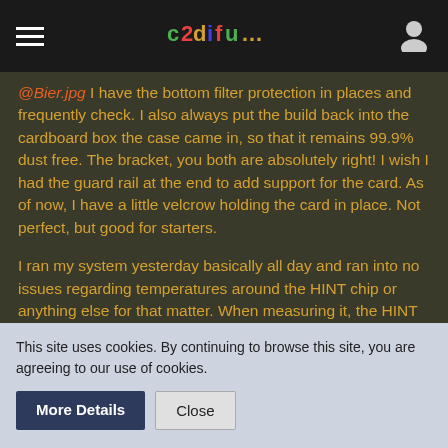Navigation bar with hamburger menu, logo, and user icon
@Bier.jpg I have the bottom filter protection in places and frequently check. I also always put the build back into the cardboard box the case came in, so that it remains 99.9% dust free. The bracket, you both are absolutely right! I wish I had the guard rail at the end to add support for the card. As of now, I have a little velcrow holding the card in place. Not perfect, but good for starters.
I ran my system yesterday basically all day and ran into no issues regarding temperatures around the HINT chip or anything else for that matter. When measuring it, the HINT runs in my system around 27-38C which seems friendly... Mainboard at 37C, Intel Tualatin running at 54C.
Also went into daring to install windows 7 on it on a totally separate
This site uses cookies. By continuing to browse this site, you are agreeing to our use of cookies.